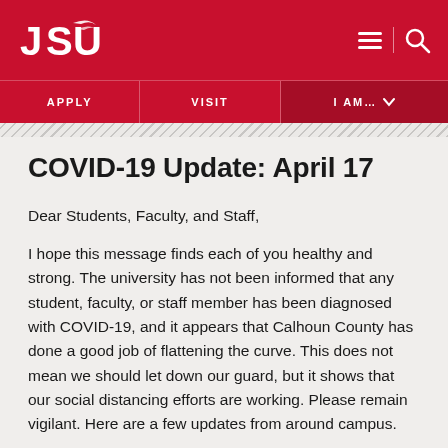JSU — Navigation bar with APPLY, VISIT, I AM...
COVID-19 Update: April 17
Dear Students, Faculty, and Staff,
I hope this message finds each of you healthy and strong. The university has not been informed that any student, faculty, or staff member has been diagnosed with COVID-19, and it appears that Calhoun County has done a good job of flattening the curve. This does not mean we should let down our guard, but it shows that our social distancing efforts are working. Please remain vigilant. Here are a few updates from around campus.